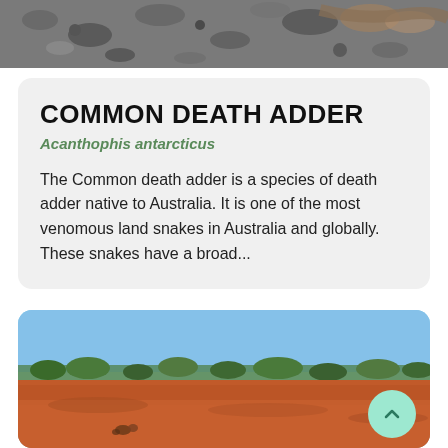[Figure (photo): Top portion of a photo showing a snake on rocky/gravelly ground, partially cropped]
COMMON DEATH ADDER
Acanthophis antarcticus
The Common death adder is a species of death adder native to Australia. It is one of the most venomous land snakes in Australia and globally. These snakes have a broad...
[Figure (photo): Photo of Australian outback landscape with red dirt ground, sparse trees on horizon, blue sky, and a small snake or lizard in the foreground]